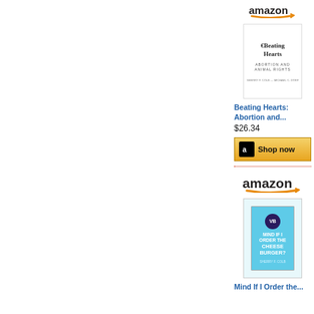[Figure (other): Amazon advertisement showing book 'Beating Hearts: Abortion and...' priced at $26.34 with a Shop now button, followed by a dotted red divider and another Amazon advertisement showing 'Mind If I Order the...' book]